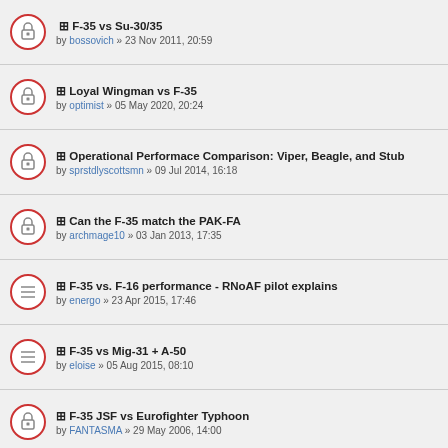F-35 vs Su-30/35 by bossovich » 23 Nov 2011, 20:59
Loyal Wingman vs F-35 by optimist » 05 May 2020, 20:24
Operational Performace Comparison: Viper, Beagle, and Stub by sprstdlyscottsmn » 09 Jul 2014, 16:18
Can the F-35 match the PAK-FA by archmage10 » 03 Jan 2013, 17:35
F-35 vs. F-16 performance - RNoAF pilot explains by energo » 23 Apr 2015, 17:46
F-35 vs Mig-31 + A-50 by eloise » 05 Aug 2015, 08:10
F-35 JSF vs Eurofighter Typhoon by FANTASMA » 29 May 2006, 14:00
J-31 aims at F-35 market by popcorn » 27 Sep 2013, 02:57
F-35 versus DEW equipped jumbo jet by eloise » 05 Dec 2018, 11:18
F-35A vs B vs C (partial)